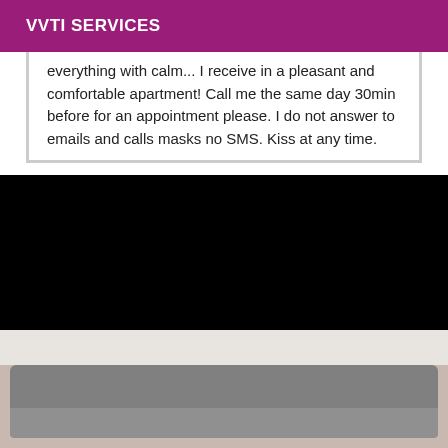VVTI SERVICES
everything with calm... I receive in a pleasant and comfortable apartment! Call me the same day 30min before for an appointment please. I do not answer to emails and calls masks no SMS. Kiss at any time.
[Figure (photo): Black/dark image, content not visible]
[Figure (photo): Photo of a person reclining on a grey sofa]